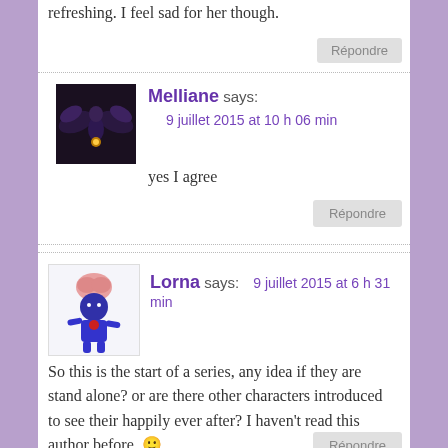refreshing. I feel sad for her though.
Répondre
Melliane says: 9 juillet 2015 at 10 h 06 min
yes I agree
Répondre
Lorna says: 9 juillet 2015 at 6 h 31 min
So this is the start of a series, any idea if they are stand alone? or are there other characters introduced to see their happily ever after? I haven't read this author before. 🙂
Répondre